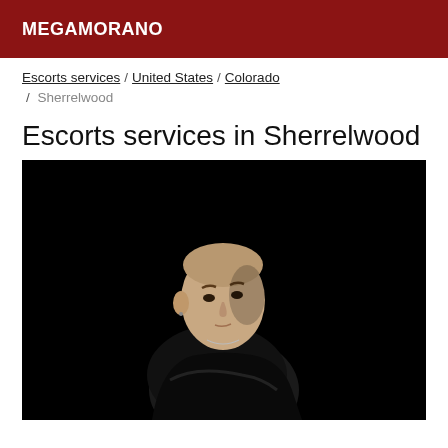MEGAMORANO
Escorts services / United States / Colorado / Sherrelwood
Escorts services in Sherrelwood
[Figure (photo): A young man with a shaved head wearing a black outfit, arms crossed, photographed against a dark black background]